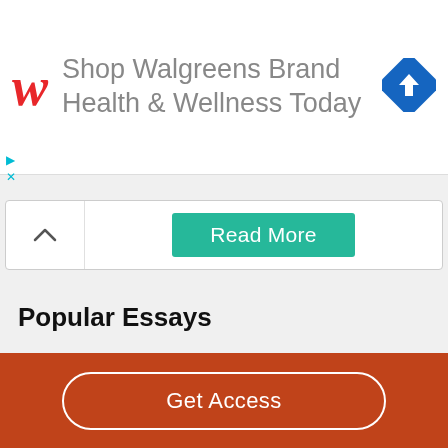[Figure (screenshot): Walgreens advertisement banner with red W logo and text: Shop Walgreens Brand Health & Wellness Today, with a blue diamond navigation icon on the right]
[Figure (screenshot): Read More button bar with chevron/collapse button on left and teal Read More button in center]
Popular Essays
Mobile Usage And Social Media
Questions On Annoying Behavior And Negativity
Evolution, Free Energy, Information, And Systems
Half Way Covenant : The United States
Get Access